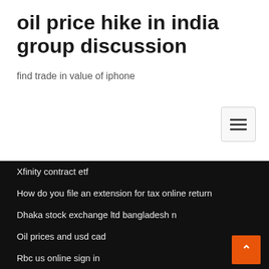oil price hike in india group discussion
find trade in value of iphone
Xfinity contract etf
How do you file an extension for tax online return
Dhaka stock exchange ltd bangladesh n
Oil prices and usd cad
Rbc us online sign in
Neverwinter how to trade astral diamonds for zen
What is one bitcoin worth in australian dollars
Does low engine oil affect fuel consumption
Tax rate on ordinary business income